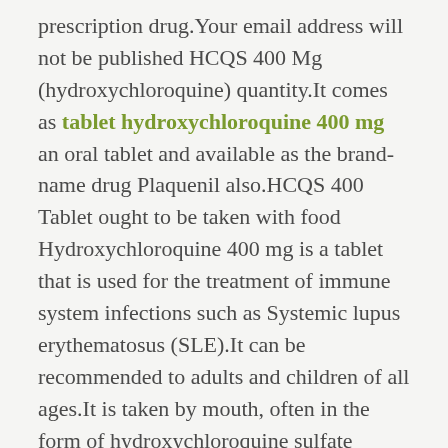prescription drug.Your email address will not be published HCQS 400 Mg (hydroxychloroquine) quantity.It comes as tablet hydroxychloroquine 400 mg an oral tablet and available as the brand-name drug Plaquenil also.HCQS 400 Tablet ought to be taken with food Hydroxychloroquine 400 mg is a tablet that is used for the treatment of immune system infections such as Systemic lupus erythematosus (SLE).It can be recommended to adults and children of all ages.It is taken by mouth, often in the form of hydroxychloroquine sulfate Common side effects may include vomiting, headache, changes.Additionally, restrains the development of microbes and kills the parasite in the event of malarial infection.HOW SUPPLIED Dosage Forms And Strengths.In some cases, they may not be available in every strength or form as the brand-name drug Hcq 400 Tablet Chloroquine